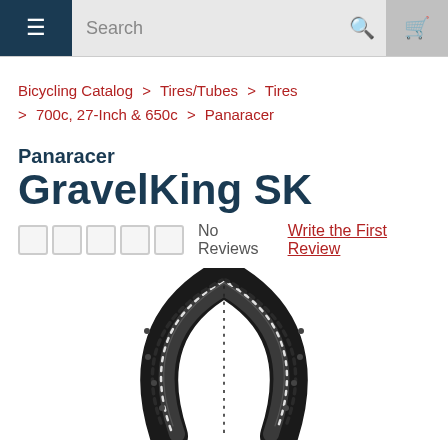Search (navigation bar with menu, search, and cart icons)
Bicycling Catalog > Tires/Tubes > Tires > 700c, 27-Inch & 650c > Panaracer
Panaracer GravelKing SK
No Reviews  Write the First Review
[Figure (photo): Black Panaracer GravelKing SK bicycle tire shown in a curved upright position, displaying the tread pattern on the outer shoulder]